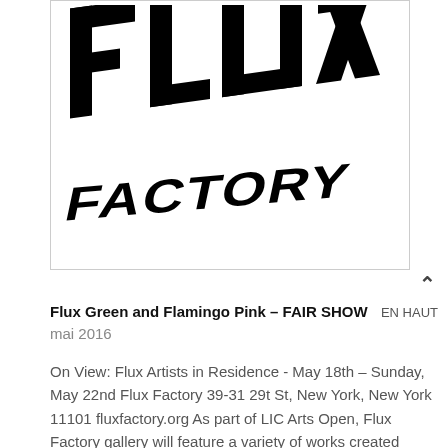[Figure (logo): Flux Factory logo — bold black block letters spelling FLUX large on top and FACTORY smaller in italic/oblique style below, on white background]
Flux Green and Flamingo Pink – FAIR SHOW
mai 2016
On View: Flux Artists in Residence - May 18th – Sunday, May 22nd Flux Factory 39-31 29t St, New York, New York 11101 fluxfactory.org As part of LIC Arts Open, Flux Factory gallery will feature a variety of works created